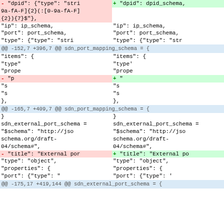[Figure (screenshot): Side-by-side unified diff view of code changes. Left side shows removed lines (red background), right side shows added lines (green background), with hunk headers in blue. Content includes JSON schema definitions for dpid, ip, port, type, items, properties fields, and sdn_external_port_schema.]